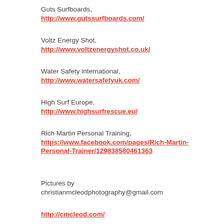Guts Surfboards,
http://www.gutssurfboards.com/
Voltz Energy Shot,
http://www.voltzenergyshot.co.uk/
Water Safety international,
http://www.watersafetyuk.com/
High Surf Europe,
http://www.highsurfrescue.eu/
Rich Martin Personal Training,
https://www.facebook.com/pages/Rich-Martin-Personal-Trainer/129838580461363
Pictures by
christianmcleodphotography@gmail.com
http://cmcleod.com/